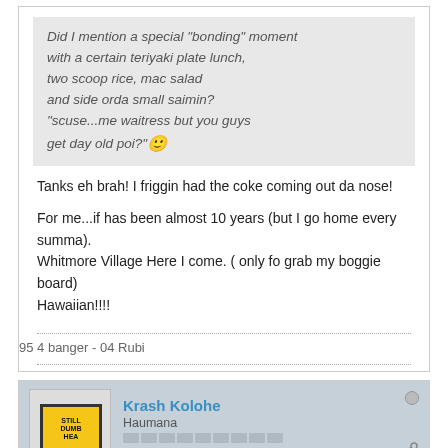Did I mention a special "bonding" moment with a certain teriyaki plate lunch, two scoop rice, mac salad and side orda small saimin? "scuse...me waitress but you guys get day old poi?" 🙂
Tanks eh brah! I friggin had the coke coming out da nose!

For me...if has been almost 10 years (but I go home every summa). Whitmore Village Here I come. ( only fo grab my boggie board) Hawaiian!!!!
95 4 banger - 04 Rubi
Krash Kolohe
Haumana
Join Date: Jul 2004    Posts: 24
July 23, 2004, 01:20 PM
#27